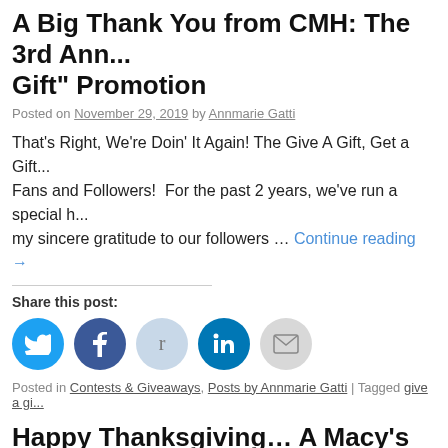A Big Thank You from CMH: The 3rd Ann... Gift" Promotion
Posted on November 29, 2019 by Annmarie Gatti
That’s Right, We’re Doin’ It Again! The Give A Gift, Get a Gift... Fans and Followers! For the past 2 years, we’ve run a special h... my sincere gratitude to our followers … Continue reading →
Share this post:
[Figure (infographic): Social share buttons: Twitter (blue circle), Facebook (dark blue circle), Reddit (light blue circle), LinkedIn (blue circle), Email (gray circle)]
Posted in Contests & Giveaways, Posts by Annmarie Gatti | Tagged give a gi...
Happy Thanksgiving… A Macy’s Day Para...
Posted on November 27, 2019 by Annmarie Gatti
Celebrating Thanksgiving with Fond Memories! I have such fo...